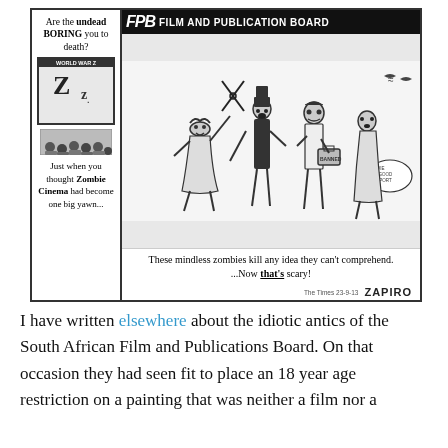[Figure (illustration): Zapiro political cartoon showing the South African Film and Publication Board (FPB) as mindless zombies. Left panel: text 'Are the undead BORING you to death?' with a movie screen showing 'World War Z' and a sleeping audience, and text 'Just when you thought Zombie Cinema had become one big yawn...' Right panel: FPB header with logo, zombie characters including one with scissors, one with a briefcase, and others. Caption: 'These mindless zombies kill any idea they can't comprehend. ...Now that's scary!' Signed: Zapiro, The Times 23-9-13.]
I have written elsewhere about the idiotic antics of the South African Film and Publications Board. On that occasion they had seen fit to place an 18 year age restriction on a painting that was neither a film nor a publication and this time they will